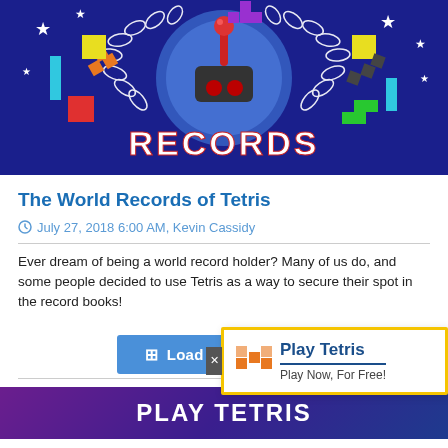[Figure (illustration): Dark blue background illustration for 'World Records' with Tetris blocks in various colors (red, orange, yellow, cyan, green, purple, dark), a red joystick in the center circle, laurel wreaths on both sides, stars, and the word RECORDS in bold white/red text at the bottom.]
The World Records of Tetris
July 27, 2018 6:00 AM, Kevin Cassidy
Ever dream of being a world record holder? Many of us do, and some people decided to use Tetris as a way to secure their spot in the record books!
Load More Stories
[Figure (infographic): Play Tetris popup widget with orange Tetris block icon, bold blue 'Play Tetris' title, blue underline, and 'Play Now, For Free!' subtitle. Yellow border around the popup. Gray close button on the left side.]
PLAY TETRIS